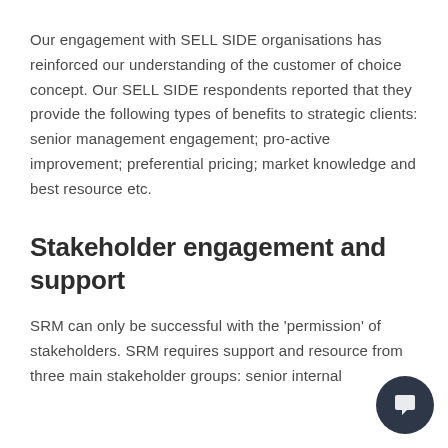Our engagement with SELL SIDE organisations has reinforced our understanding of the customer of choice concept. Our SELL SIDE respondents reported that they provide the following types of benefits to strategic clients: senior management engagement; pro-active improvement; preferential pricing; market knowledge and best resource etc.
Stakeholder engagement and support
SRM can only be successful with the 'permission' of stakeholders. SRM requires support and resource from three main stakeholder groups: senior internal